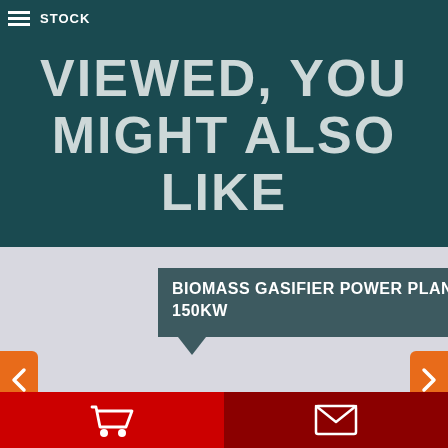STOCK
VIEWED, YOU MIGHT ALSO LIKE
BIOMASS GASIFIER POWER PLANT 150KW
[Figure (other): Product image area - white background product photo placeholder]
[Figure (other): Star rating showing approximately 2.5 out of 5 stars in green]
3 UNITS
ID:2117
[Figure (other): Navigation left arrow button in orange]
[Figure (other): Navigation right arrow button in orange]
[Figure (other): Bottom toolbar with shopping cart icon on red left side and envelope/message icon on dark red right side]